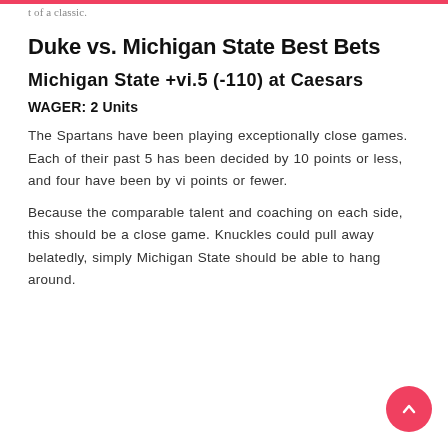…t of a classic.
Duke vs. Michigan State Best Bets
Michigan State +vi.5 (-110) at Caesars
WAGER: 2 Units
The Spartans have been playing exceptionally close games. Each of their past 5 has been decided by 10 points or less, and four have been by vi points or fewer.
Because the comparable talent and coaching on each side, this should be a close game. Knuckles could pull away belatedly, simply Michigan State should be able to hang around.